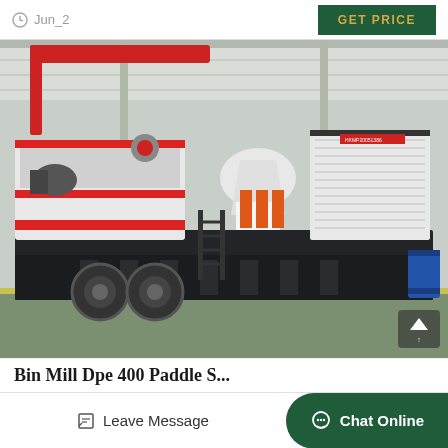Jun_2 | GET PRICE
[Figure (photo): Large mobile cone crusher mounted on a heavy-duty trailer/truck platform, photographed inside an industrial factory/warehouse. The machine is predominantly white and dark gray/black, with orange accents. A red overhead crane is visible in the background. The equipment bears the label HXMP20051386.]
Bin Mill Dpe 400 Paddle S...
Leave Message
Chat Online